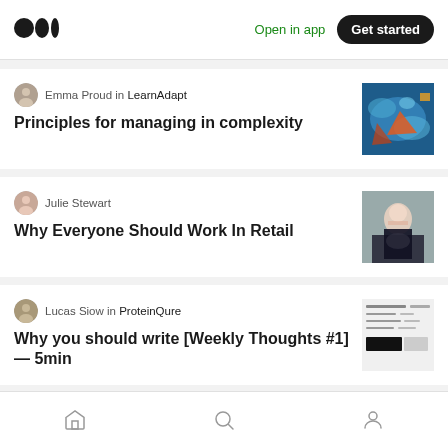Medium — Open in app — Get started
Emma Proud in LearnAdapt
Principles for managing in complexity
[Figure (photo): Colorful abstract painting thumbnail]
Julie Stewart
Why Everyone Should Work In Retail
[Figure (photo): Photo of a smiling woman in a retail setting]
Lucas Siow in ProteinQure
Why you should write [Weekly Thoughts #1] — 5min
[Figure (screenshot): Screenshot of a document or spreadsheet thumbnail]
Home | Search | Profile navigation